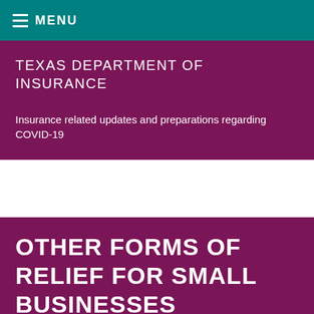MENU
TEXAS DEPARTMENT OF INSURANCE
Insurance related updates and preparations regarding COVID-19
OTHER FORMS OF RELIEF FOR SMALL BUSINESSES